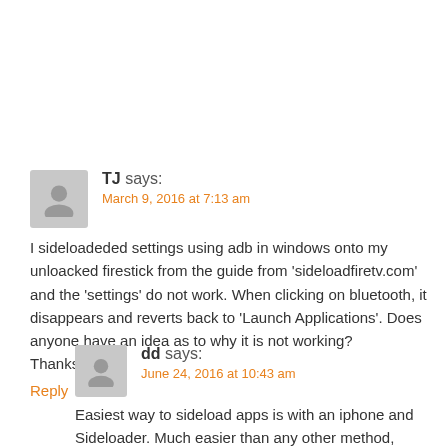TJ says: March 9, 2016 at 7:13 am
I sideloadeded settings using adb in windows onto my unloacked firestick from the guide from 'sideloadfiretv.com' and the 'settings' do not work. When clicking on bluetooth, it disappears and reverts back to 'Launch Applications'. Does anyone have an idea as to why it is not working?
Thanks
Reply
dd says: June 24, 2016 at 10:43 am
Easiest way to sideload apps is with an iphone and Sideloader. Much easier than any other method, period.